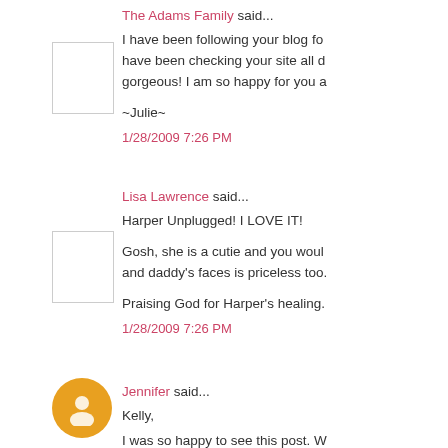The Adams Family said...
I have been following your blog fo have been checking your site all d gorgeous! I am so happy for you a
~Julie~
1/28/2009 7:26 PM
Lisa Lawrence said...
Harper Unplugged! I LOVE IT!
Gosh, she is a cutie and you woul and daddy's faces is priceless too.
Praising God for Harper's healing.
1/28/2009 7:26 PM
Jennifer said...
Kelly,
I was so happy to see this post. W